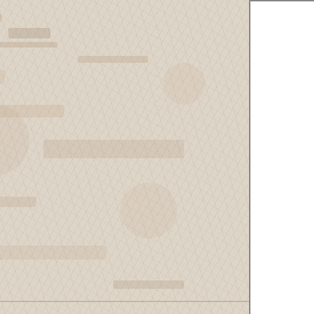Constitution. The Fifth Amend... the same offense in the same lev... in separate state and national ju... Against the Prohibition Ame... country for the organization be... and contacts proved valuable... opposed women's suffrage. H... former United States Secretary... National Associati...
He served as a United States Rep... Pepper, is one of the few modern... of Representatives. As such, Wa... many of his conservative Re... legislation on state's rights grou... Franklin Delan...
His son in law was Stuart Symin... Democratic U.S. Senator fro... Democratic presidential nomin... Hill C...
Cli...
[Figure (photo): Dark photograph strip at the bottom, showing what appears to be dark rounded objects (possibly blueberries or similar) with a yellow/gold curved element visible at bottom right.]